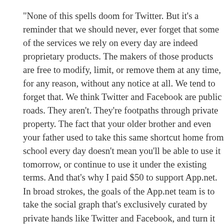"None of this spells doom for Twitter. But it's a reminder that we should never, ever forget that some of the services we rely on every day are indeed proprietary products. The makers of those products are free to modify, limit, or remove them at any time, for any reason, without any notice at all. We tend to forget that. We think Twitter and Facebook are public roads. They aren't. They're footpaths through private property. The fact that your older brother and even your father used to take this same shortcut home from school every day doesn't mean you'll be able to use it tomorrow, or continue to use it under the existing terms. And that's why I paid $50 to support App.net. In broad strokes, the goals of the App.net team is to take the social graph that's exclusively curated by private hands like Twitter and Facebook, and turn it into a public right-of-way . . . like email."
Twitter makes clear its in charge of the apps - Chicago Sun-Times
POSTED BY PBOKELLY AT 7:36 AM
NO COMMENTS: